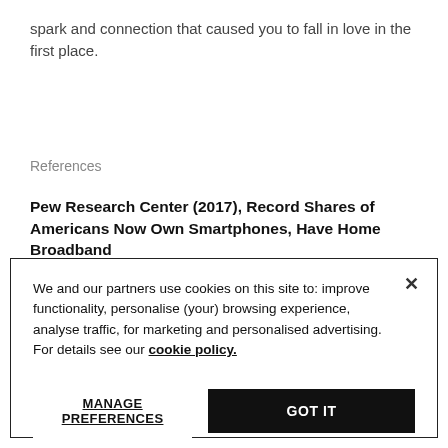spark and connection that caused you to fall in love in the first place.
References
Pew Research Center (2017), Record Shares of Americans Now Own Smartphones, Have Home Broadband
We and our partners use cookies on this site to: improve functionality, personalise (your) browsing experience, analyse traffic, for marketing and personalised advertising. For details see our cookie policy.
MANAGE PREFERENCES
GOT IT